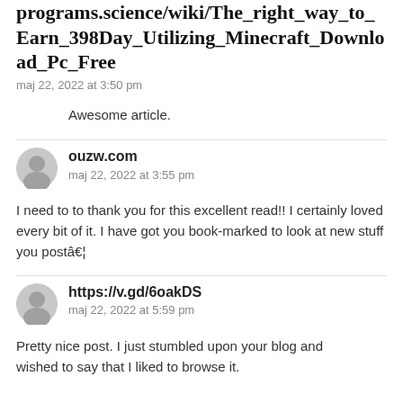programs.science/wiki/The_right_way_to_Earn_398Day_Utilizing_Minecraft_Download_Pc_Free
maj 22, 2022 at 3:50 pm
Awesome article.
ouzw.com
maj 22, 2022 at 3:55 pm
I need to to thank you for this excellent read!! I certainly loved every bit of it. I have got you book-marked to look at new stuff you postâ€¦
https://v.gd/6oakDS
maj 22, 2022 at 5:59 pm
Pretty nice post. I just stumbled upon your blog and wished to say that I liked to browse it.